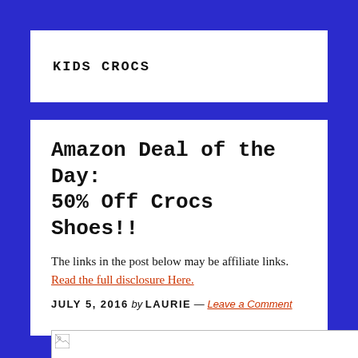KIDS CROCS
Amazon Deal of the Day: 50% Off Crocs Shoes!!
The links in the post below may be affiliate links. Read the full disclosure Here.
JULY 5, 2016 by LAURIE — Leave a Comment
[Figure (photo): Partially loaded image placeholder with broken image icon, followed by the number 50 to the right]